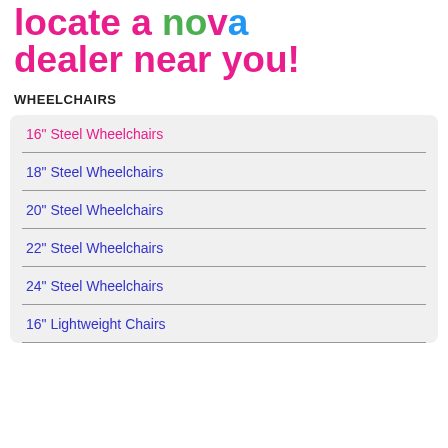locate a nova dealer near you!
WHEELCHAIRS
16" Steel Wheelchairs
18" Steel Wheelchairs
20" Steel Wheelchairs
22" Steel Wheelchairs
24" Steel Wheelchairs
16" Lightweight Chairs